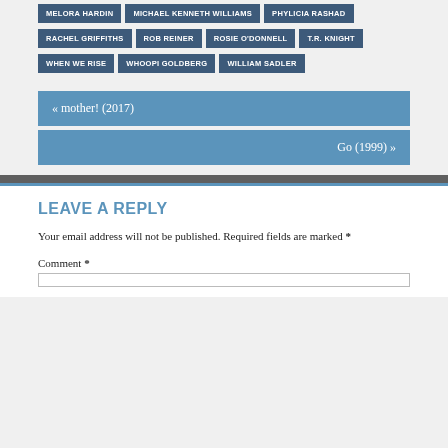MELORA HARDIN
MICHAEL KENNETH WILLIAMS
PHYLICIA RASHAD
RACHEL GRIFFITHS
ROB REINER
ROSIE O'DONNELL
T.R. KNIGHT
WHEN WE RISE
WHOOPI GOLDBERG
WILLIAM SADLER
« mother! (2017)
Go (1999) »
LEAVE A REPLY
Your email address will not be published. Required fields are marked *
Comment *